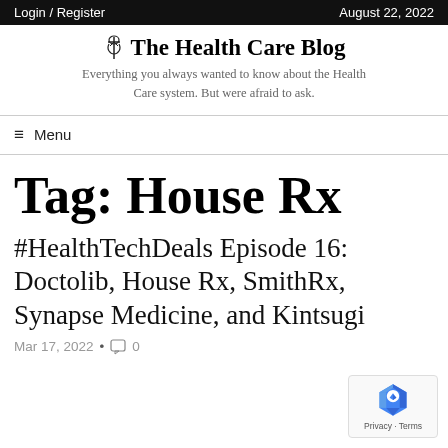Login / Register    August 22, 2022
The Health Care Blog
Everything you always wanted to know about the Health Care system. But were afraid to ask.
≡ Menu
Tag: House Rx
#HealthTechDeals Episode 16: Doctolib, House Rx, SmithRx, Synapse Medicine, and Kintsugi
Mar 17, 2022•  0